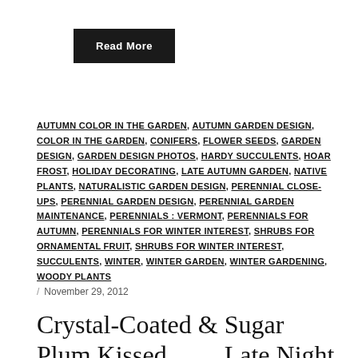Read More
AUTUMN COLOR IN THE GARDEN, AUTUMN GARDEN DESIGN, COLOR IN THE GARDEN, CONIFERS, FLOWER SEEDS, GARDEN DESIGN, GARDEN DESIGN PHOTOS, HARDY SUCCULENTS, HOAR FROST, HOLIDAY DECORATING, LATE AUTUMN GARDEN, NATIVE PLANTS, NATURALISTIC GARDEN DESIGN, PERENNIAL CLOSE-UPS, PERENNIAL GARDEN DESIGN, PERENNIAL GARDEN MAINTENANCE, PERENNIALS : VERMONT, PERENNIALS FOR AUTUMN, PERENNIALS FOR WINTER INTEREST, SHRUBS FOR ORNAMENTAL FRUIT, SHRUBS FOR WINTER INTEREST, SUCCULENTS, WINTER, WINTER GARDEN, WINTER GARDENING, WOODY PLANTS
/ November 29, 2012
Crystal-Coated & Sugar Plum Kissed . . . . Late Night Garden